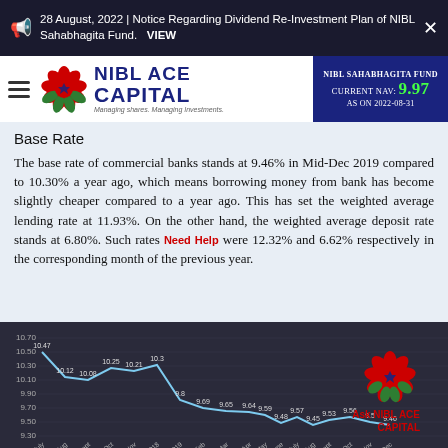28 August, 2022 | Notice Regarding Dividend Re-Investment Plan of NIBL Sahabhagita Fund.   VIEW
NIBL ACE CAPITAL — NIBL SAHABHAGITA FUND CURRENT NAV: 9.97 AS ON 2022-08-31
Base Rate
The base rate of commercial banks stands at 9.46% in Mid-Dec 2019 compared to 10.30% a year ago, which means borrowing money from bank has become slightly cheaper compared to a year ago. This has set the weighted average lending rate at 11.93%. On the other hand, the weighted average deposit rate stands at 6.80%. Such rates were 12.32% and 6.62% respectively in the corresponding month of the previous year.
[Figure (line-chart): Base Rate Trend]